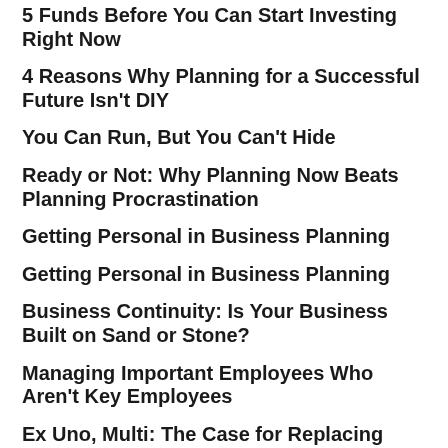5 Funds Before You Can Start Investing Right Now
4 Reasons Why Planning for a Successful Future Isn't DIY
You Can Run, But You Can't Hide
Ready or Not: Why Planning Now Beats Planning Procrastination
Getting Personal in Business Planning
Getting Personal in Business Planning
Business Continuity: Is Your Business Built on Sand or Stone?
Managing Important Employees Who Aren't Key Employees
Ex Uno, Multi: The Case for Replacing One